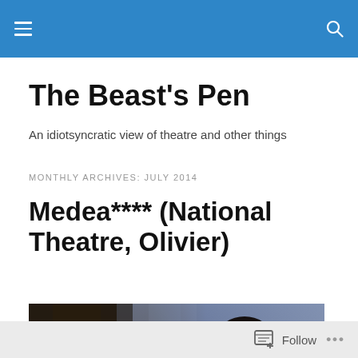The Beast's Pen — navigation header bar
The Beast's Pen
An idiotsyncratic view of theatre and other things
MONTHLY ARCHIVES: JULY 2014
Medea**** (National Theatre, Olivier)
[Figure (photo): Theatrical production photo showing a dramatic scene with a woman in black clothing against a dark, misty background with a tree or wooden structure visible.]
Follow ...